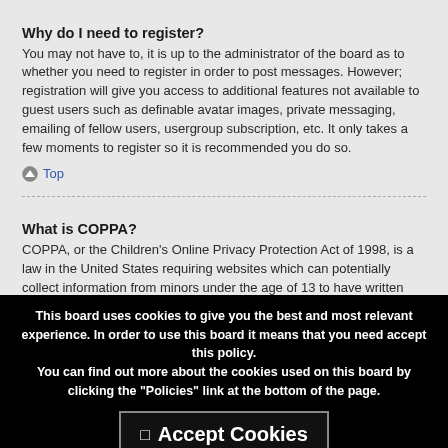Why do I need to register?
You may not have to, it is up to the administrator of the board as to whether you need to register in order to post messages. However; registration will give you access to additional features not available to guest users such as definable avatar images, private messaging, emailing of fellow users, usergroup subscription, etc. It only takes a few moments to register so it is recommended you do so.
Top
What is COPPA?
COPPA, or the Children’s Online Privacy Protection Act of 1998, is a law in the United States requiring websites which can potentially collect information from minors under the age of 13 to have written parental consent or some other method of legal guardian acknowledgment, allowing the collection of personally identifiable information from a minor under the age of 13. If you are unsure if this applies to you as someone trying to
This board uses cookies to give you the best and most relevant experience. In order to use this board it means that you need accept this policy.
You can find out more about the cookies used on this board by clicking the "Policies" link at the bottom of the page.
Accept Cookies